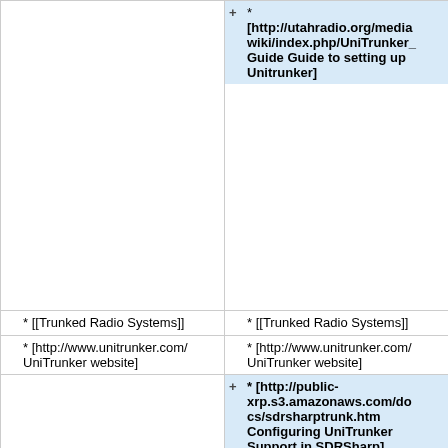| Old revision | New revision |
| --- | --- |
| (top partial, empty left) | * [http://utahradio.org/mediawiki/index.php/UniTrunker_Guide Guide to setting up Unitrunker] |
| * [[Trunked Radio Systems]] | * [[Trunked Radio Systems]] |
| * [http://www.unitrunker.com/ UniTrunker website] | * [http://www.unitrunker.com/ UniTrunker website] |
|  | * [http://public-xrp.s3.amazonaws.com/docs/sdrsharptrunk.htm Configuring UniTrunker Support in SDRSharp] |
|  | + |
| (empty row) | (empty row) |
| [[Category:Software | [[Category:UniTrunker |